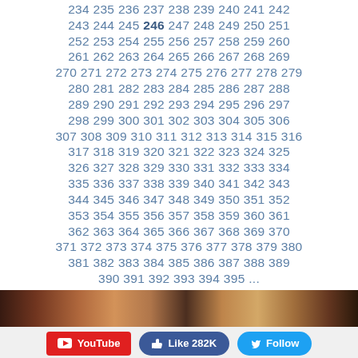234 235 236 237 238 239 240 241 242 243 244 245 246 247 248 249 250 251 252 253 254 255 256 257 258 259 260 261 262 263 264 265 266 267 268 269 270 271 272 273 274 275 276 277 278 279 280 281 282 283 284 285 286 287 288 289 290 291 292 293 294 295 296 297 298 299 300 301 302 303 304 305 306 307 308 309 310 311 312 313 314 315 316 317 318 319 320 321 322 323 324 325 326 327 328 329 330 331 332 333 334 335 336 337 338 339 340 341 342 343 344 345 346 347 348 349 350 351 352 353 354 355 356 357 358 359 360 361 362 363 364 365 366 367 368 369 370 371 372 373 374 375 376 377 378 379 380 381 382 383 384 385 386 387 388 389 390 391 392 393 394 395 ...
[Figure (photo): Dark photo strip showing faces/people]
YouTube   Like 282K   Follow